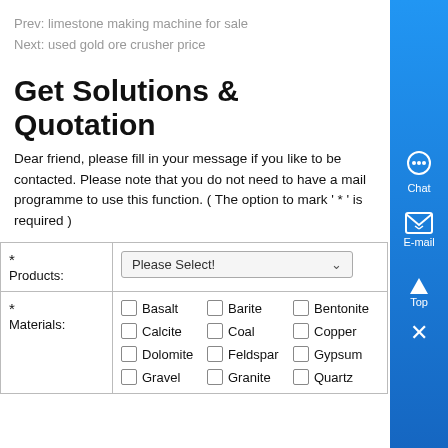Prev: limestone making machine for sale
Next: used gold ore crusher price
Get Solutions & Quotation
Dear friend, please fill in your message if you like to be contacted. Please note that you do not need to have a mail programme to use this function. ( The option to mark ' * ' is required )
| * Products: | Please Select! |
| * Materials: | Basalt, Barite, Bentonite, Calcite, Coal, Copper, Dolomite, Feldspar, Gypsum, Gravel, Granite, Quartz |